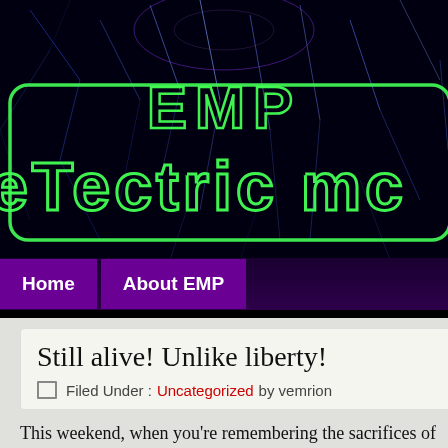[Figure (illustration): Website header banner with dark background featuring blue electric/lightning sparks and neon green text logo reading 'EMP electric mo' (partially cropped). Two navigation buttons below: 'Home' and 'About EMP' in purple.]
Still alive! Unlike liberty!
Filed Under : Uncategorized by vemrion
This weekend, when you're remembering the sacrifices of the soldiers who have died defending our country from tyranny, take a moment to remember how totally and completely fucked we are now that all the true patriots